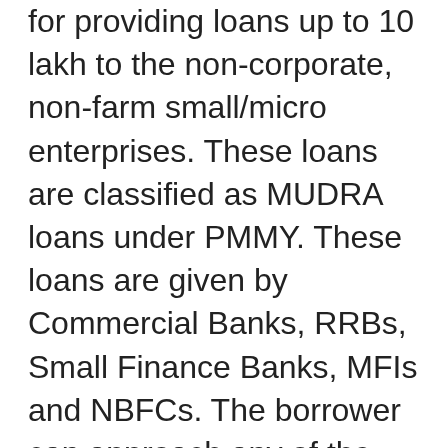for providing loans up to 10 lakh to the non-corporate, non-farm small/micro enterprises. These loans are classified as MUDRA loans under PMMY. These loans are given by Commercial Banks, RRBs, Small Finance Banks, MFIs and NBFCs. The borrower can approach any of the lending institutions mentioned above or can apply online through this portal www.udyamimitra.in . Under the aegis of PMMY, MUDRA has created three products namely 'Shishu', 'Kishore' and 'Tarun' to signify the stage of growth / development and funding